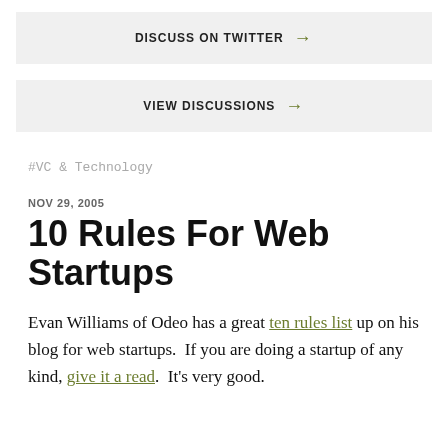DISCUSS ON TWITTER →
VIEW DISCUSSIONS →
#VC & Technology
NOV 29, 2005
10 Rules For Web Startups
Evan Williams of Odeo has a great ten rules list up on his blog for web startups.  If you are doing a startup of any kind, give it a read.  It's very good.